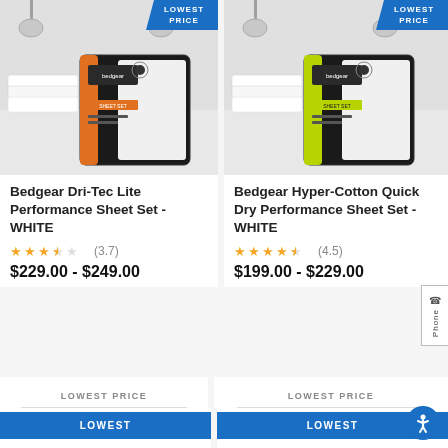[Figure (photo): Product photo of Bedgear Dri-Tec Lite Performance Sheet Set in white, with orange accent packaging on a bed/shelf background. Blue LOWEST PRICE badge in top-right corner.]
[Figure (photo): Product photo of Bedgear Hyper-Cotton Quick Dry Performance Sheet Set in white, with yellow-green accent packaging on a bed/shelf background. Blue LOWEST PRICE badge in top-right corner.]
Bedgear Dri-Tec Lite Performance Sheet Set - WHITE
Bedgear Hyper-Cotton Quick Dry Performance Sheet Set - WHITE
★★★★☆ (3.7)
★★★★★ (4.5)
$229.00 - $249.00
$199.00 - $229.00
LOWEST PRICE
LOWEST PRICE
LOWEST
LOWEST